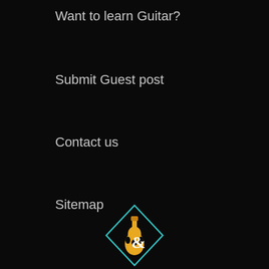Want to learn Guitar?
Submit Guest post
Contact us
Sitemap
Terms of Service
Refund policy
Do not sell my personal information
[Figure (logo): Guitar website logo: a guitar body with a treble clef inside a diamond/rhombus outline shape, in teal/cyan outline with golden guitar body]